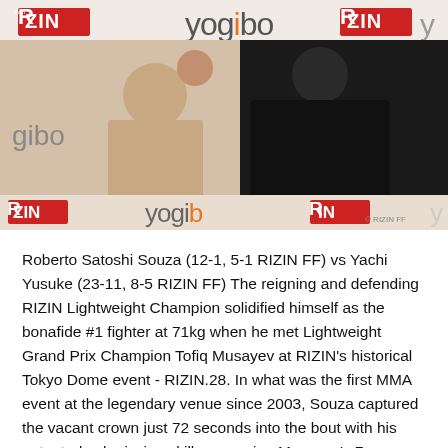[Figure (photo): A man in a black jacket standing in front of a RIZIN FF and Yogibo branded backdrop, next to a promotional poster photo of a shirtless fighter. RIZIN and Yogibo logos visible on the banner behind them.]
Roberto Satoshi Souza (12-1, 5-1 RIZIN FF) vs Yachi Yusuke (23-11, 8-5 RIZIN FF) The reigning and defending RIZIN Lightweight Champion solidified himself as the bonafide #1 fighter at 71kg when he met Lightweight Grand Prix Champion Tofiq Musayev at RIZIN's historical Tokyo Dome event - RIZIN.28. In what was the first MMA event at the legendary venue since 2003, Souza captured the vacant crown just 72 seconds into the bout with his patented submission skills, snapping Musayev's 7 year,